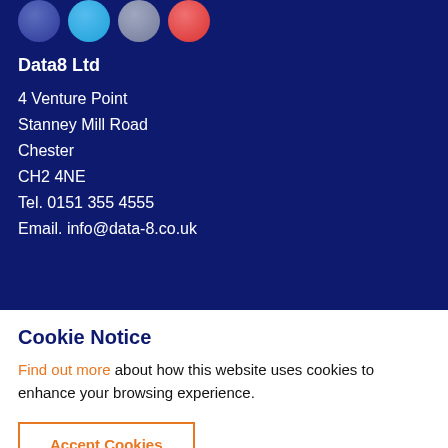[Figure (illustration): Social media icon bubbles: Facebook (dark blue), Twitter (light blue), Google+ (grey), YouTube (red)]
Data8 Ltd
4 Venture Point
Stanney Mill Road
Chester
CH2 4NE
Tel. 0151 355 4555
Email. info@data-8.co.uk
Cookie Notice
Find out more about how this website uses cookies to enhance your browsing experience.
Accept Cookies